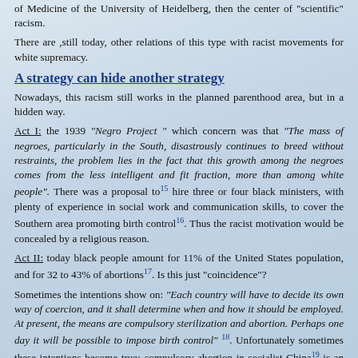of Medicine of the University of Heidelberg, then the center of "scientific" racism.
There are ,still today, other relations of this type with racist movements for white supremacy.
A strategy can hide another strategy
Nowadays, this racism still works in the planned parenthood area, but in a hidden way.
Act I: the 1939 "Negro Project " which concern was that "The mass of negroes, particularly in the South, disastrously continues to breed without restraints, the problem lies in the fact that this growth among the negroes comes from the less intelligent and fit fraction, more than among white people". There was a proposal to(15) hire three or four black ministers, with plenty of experience in social work and communication skills, to cover the Southern area promoting birth control(16). Thus the racist motivation would be concealed by a religious reason.
Act II: today black people amount for 11% of the United States population, and for 32 to 43% of abortions(17). Is this just "coincidence"?
Sometimes the intentions show on: "Each country will have to decide its own way of coercion, and it shall determine when and how it should be employed. At present, the means are compulsory sterilization and abortion. Perhaps one day it will be possible to impose birth control" (18). Unfortunately sometimes these intentions become true: compulsory abortion in socialist China(19) is an example.
Marketing genius